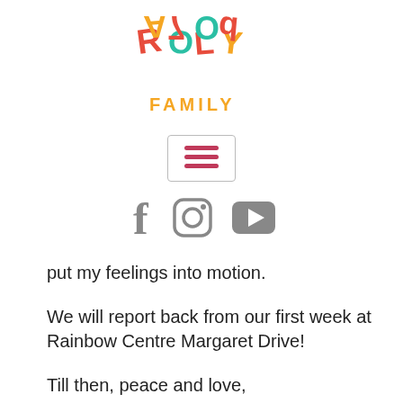[Figure (logo): Roly Poly Family logo with colorful playful letters and the word FAMILY in orange below]
[Figure (screenshot): Hamburger menu icon in a rounded rectangle border]
[Figure (infographic): Social media icons: Facebook, Instagram, YouTube in gray]
put my feelings into motion.
We will report back from our first week at Rainbow Centre Margaret Drive!
Till then, peace and love,